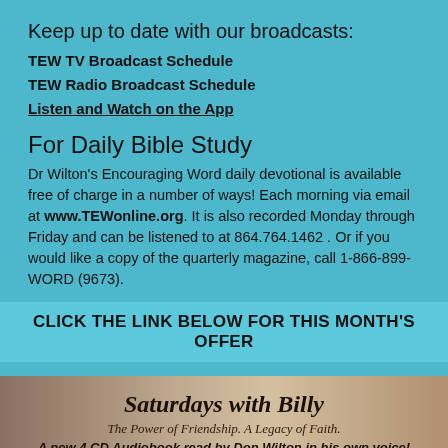Keep up to date with our broadcasts:
TEW TV Broadcast Schedule
TEW Radio Broadcast Schedule
Listen and Watch on the App
For Daily Bible Study
Dr Wilton's Encouraging Word daily devotional is available free of charge in a number of ways! Each morning via email at www.TEWonline.org. It is also recorded Monday through Friday and can be listened to at 864.764.1462 . Or if you would like a copy of the quarterly magazine, call 1-866-899-WORD (9673).
CLICK THE LINK BELOW FOR THIS MONTH'S OFFER
Saturdays with Billy
The Power of Friendship. A Legacy of Faith.
A new 4 CD Audiobook read by Don Wilton in his own voice!
Pastor Don Wilton shared a long and fruitful relationship with Billy Graham. At Mr. Graham's home in Montreat, North Carolina, they spent hours talking about family, sports, and their spiritual lives. In Saturdays with Billy, Don Wilton shares heartwarming stories of his times with Mr. Graham. Just as Billy Graham's Words changed Don Wilton's life, they can change our lives today a testament to